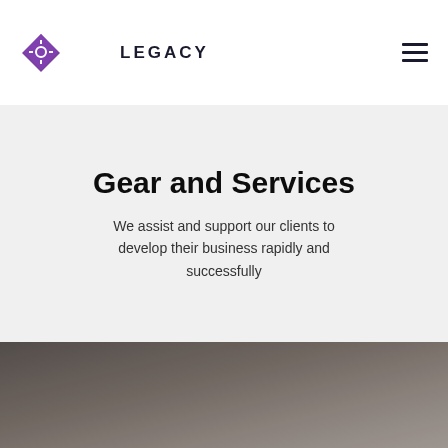LEGACY
Gear and Services
We assist and support our clients to develop their business rapidly and successfully
[Figure (photo): Dark brownish-gray textured background photo, partially visible at bottom of page]